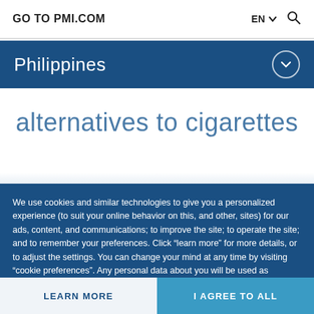GO TO PMI.COM
Philippines
alternatives to cigarettes
We use cookies and similar technologies to give you a personalized experience (to suit your online behavior on this, and other, sites) for our ads, content, and communications; to improve the site; to operate the site; and to remember your preferences. Click “learn more” for more details, or to adjust the settings. You can change your mind at any time by visiting “cookie preferences”. Any personal data about you will be used as described in our Privacy Notice.
LEARN MORE
I AGREE TO ALL